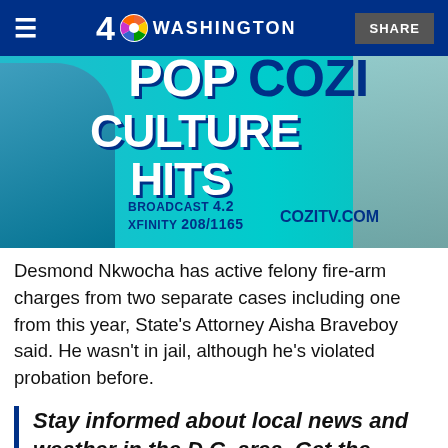4 NBC WASHINGTON | SHARE
[Figure (illustration): COZI TV advertisement banner: 'POP COZI CULTURE HITS' text on teal background with character silhouettes. BROADCAST 4.2, XFINITY 208/1165, COZITV.COM]
Desmond Nkwocha has active felony fire-arm charges from two separate cases including one from this year, State's Attorney Aisha Braveboy said. He wasn't in jail, although he's violated probation before.
Stay informed about local news and weather in the D.C. area. Get the NBC4 Washington app for iOS or Android and pick your alerts